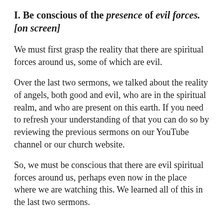I. Be conscious of the presence of evil forces. [on screen]
We must first grasp the reality that there are spiritual forces around us, some of which are evil.
Over the last two sermons, we talked about the reality of angels, both good and evil, who are in the spiritual realm, and who are present on this earth. If you need to refresh your understanding of that you can do so by reviewing the previous sermons on our YouTube channel or our church website.
So, we must be conscious that there are evil spiritual forces around us, perhaps even now in the place where we are watching this. We learned all of this in the last two sermons.